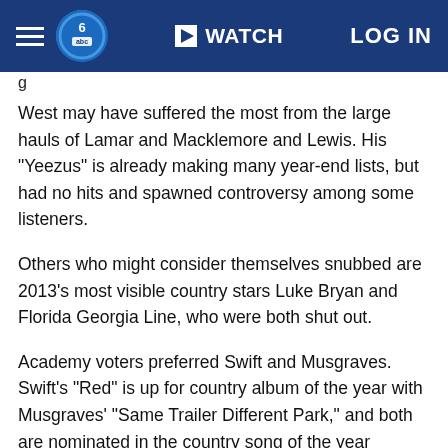WATCH   LOG IN
West may have suffered the most from the large hauls of Lamar and Macklemore and Lewis. His "Yeezus" is already making many year-end lists, but had no hits and spawned controversy among some listeners.
Others who might consider themselves snubbed are 2013's most visible country stars Luke Bryan and Florida Georgia Line, who were both shut out.
Academy voters preferred Swift and Musgraves. Swift's "Red" is up for country album of the year with Musgraves' "Same Trailer Different Park," and both are nominated in the country song of the year category, where Musgraves has two nods for co-writing her own "Merry Go 'Round" and Miranda Lambert's "Mama's Broken Heart."